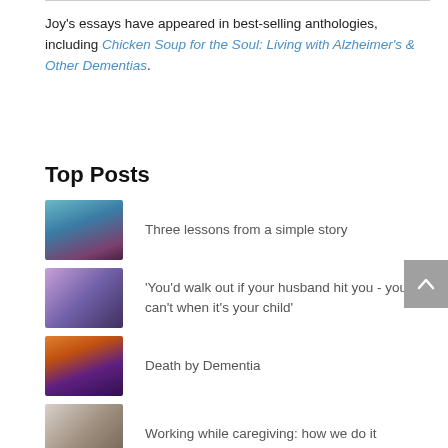Joy's essays have appeared in best-selling anthologies, including Chicken Soup for the Soul: Living with Alzheimer's & Other Dementias.
Top Posts
Three lessons from a simple story
'You'd walk out if your husband hit you - you can't when it's your child'
Death by Dementia
Working while caregiving: how we do it
Programs that actually pay family caregivers for their dedication